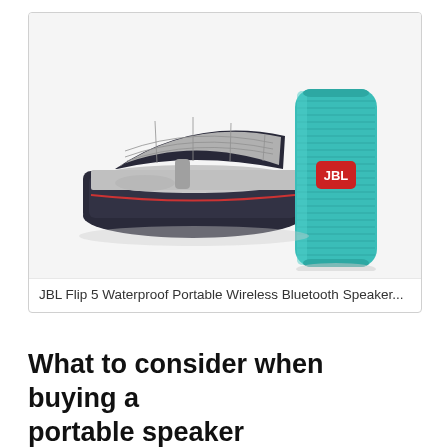[Figure (photo): Product photo showing a JBL Flip 5 teal Bluetooth speaker standing upright next to an open black travel case with grey interior mesh lining and elastic straps, on a white background.]
JBL Flip 5 Waterproof Portable Wireless Bluetooth Speaker...
What to consider when buying a portable speaker